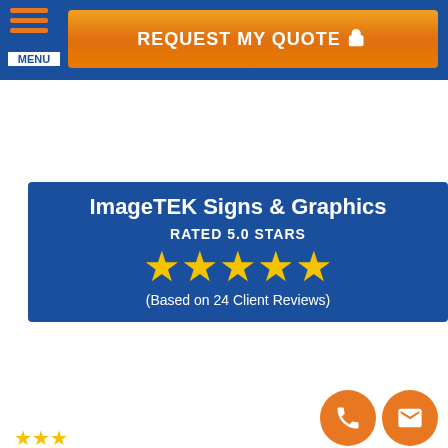[Figure (screenshot): Navigation bar with orange menu hamburger icon, MENU label, and orange REQUEST MY QUOTE button with pointer icon]
[Figure (infographic): Blue panel: ImageTEK Signs & Graphics, RATED 5.0 STARS, five gold stars, (Based on 24 Client Reviews)]
[Figure (infographic): Blue panel: We Accept: with icons for cash, check, credit card, Visa, Mastercard, Discover, American Express]
[Figure (infographic): Blue panel: Client Review section header, with orange phone and mail floating buttons]